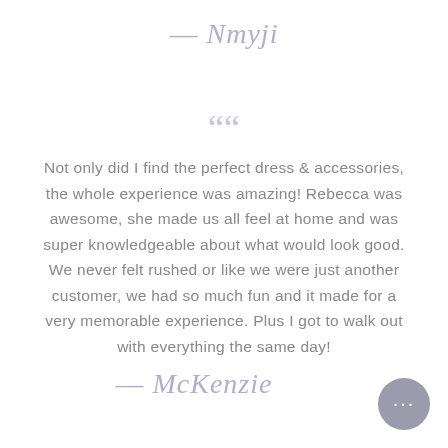— Nmyji
““
Not only did I find the perfect dress & accessories, the whole experience was amazing! Rebecca was awesome, she made us all feel at home and was super knowledgeable about what would look good. We never felt rushed or like we were just another customer, we had so much fun and it made for a very memorable experience. Plus I got to walk out with everything the same day!
— McKenzie
[Figure (illustration): Chat bubble icon with three dots, grey circular button in bottom right corner]